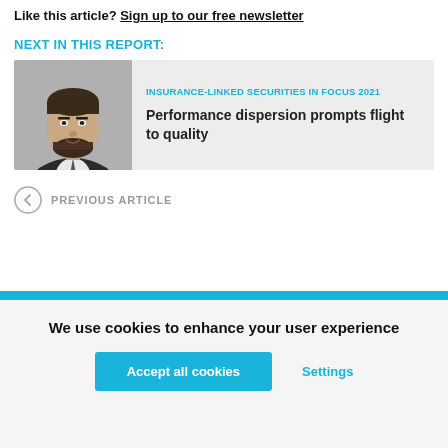Like this article? Sign up to our free newsletter
NEXT IN THIS REPORT:
[Figure (photo): Black and white headshot of a bearded man in a dark suit and tie]
INSURANCE-LINKED SECURITIES IN FOCUS 2021
Performance dispersion prompts flight to quality
← PREVIOUS ARTICLE
We use cookies to enhance your user experience
Accept all cookies
Settings